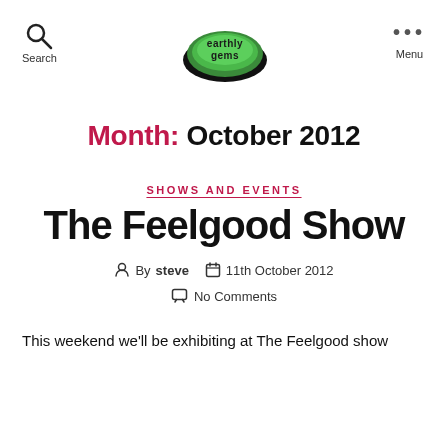earthly gems — Search — Menu
Month: October 2012
SHOWS AND EVENTS
The Feelgood Show
By steve   11th October 2012   No Comments
This weekend we'll be exhibiting at The Feelgood show